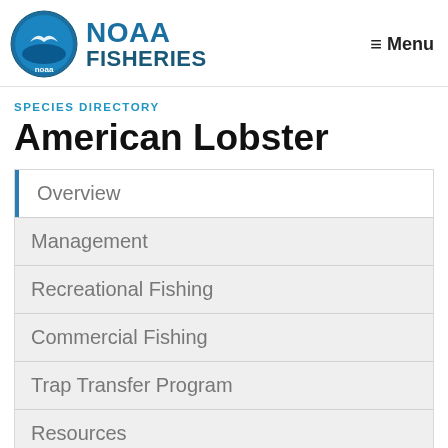NOAA FISHERIES — Menu
SPECIES DIRECTORY
American Lobster
Overview
Management
Recreational Fishing
Commercial Fishing
Trap Transfer Program
Resources